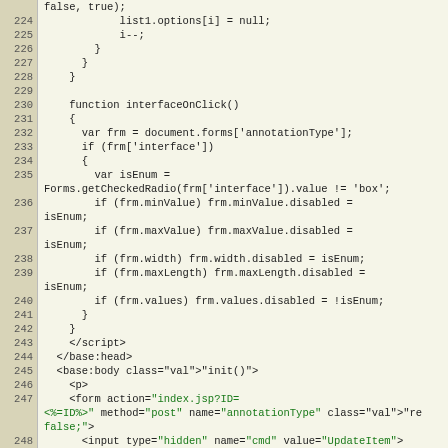Code listing lines 224-249 showing interfaceOnClick() JavaScript function and HTML markup
[Figure (screenshot): Source code editor view showing JavaScript and HTML code with line numbers 224-249 on a beige background]